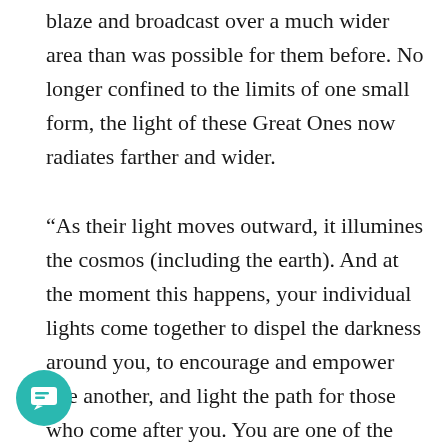blaze and broadcast over a much wider area than was possible for them before. No longer confined to the limits of one small form, the light of these Great Ones now radiates farther and wider.

“As their light moves outward, it illumines the cosmos (including the earth). And at the moment this happens, your individual lights come together to dispel the darkness around you, to encourage and empower one another, and light the path for those who come after you. You are one of the lights we are talking about,” the Grandmothers say, “and many of you are glowing far brighter than you think. Some of you may measure today at ten watts, at twenty-five watts, or at a hundred watts or more. But whatever your potency at this moment,” they say, “you are
20